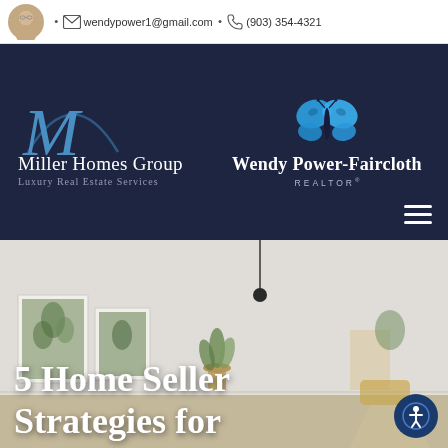wendypower1@gmail.com · (903) 354-4321
[Figure (logo): Miller Homes Group Luxury Real Estate Services logo with large italic M in blue]
[Figure (logo): Wendy Power-Faircloth REALTOR logo with blue butterfly]
[Figure (photo): Interior living room photo with plants and pendant light, blurred background]
5 Home Seller Strategies for